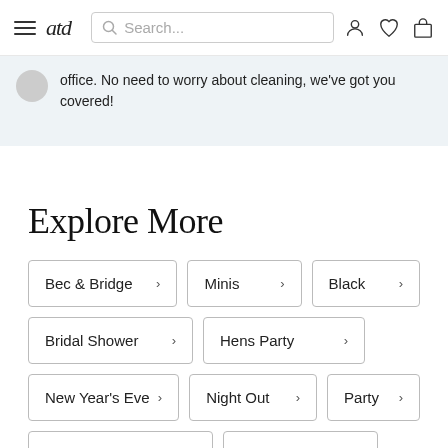atd — navigation bar with search, user, wishlist, and cart icons
office. No need to worry about cleaning, we've got you covered!
Explore More
Bec & Bridge
Minis
Black
Bridal Shower
Hens Party
New Year's Eve
Night Out
Party
Cocktail Party
Date Night